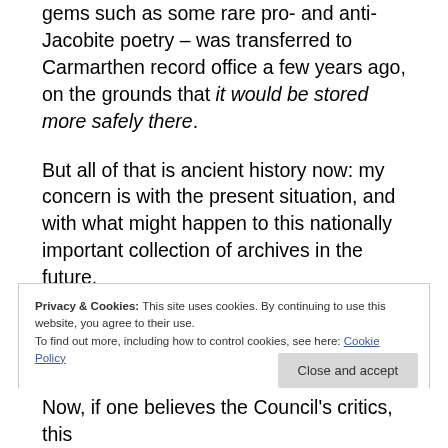gems such as some rare pro- and anti-Jacobite poetry – was transferred to Carmarthen record office a few years ago, on the grounds that it would be stored more safely there.
But all of that is ancient history now: my concern is with the present situation, and with what might happen to this nationally important collection of archives in the future.
Privacy & Cookies: This site uses cookies. By continuing to use this website, you agree to their use. To find out more, including how to control cookies, see here: Cookie Policy
Close and accept
Now, if one believes the Council's critics, this